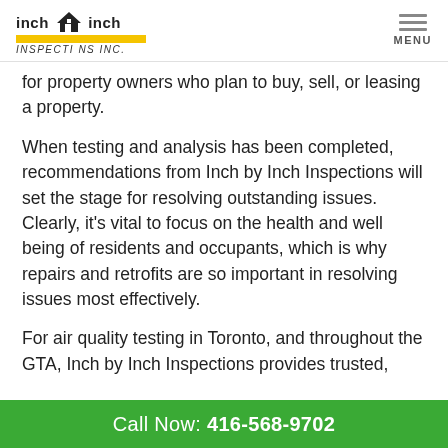inch by inch Inspections Inc. | MENU
for property owners who plan to buy, sell, or leasing a property.
When testing and analysis has been completed, recommendations from Inch by Inch Inspections will set the stage for resolving outstanding issues. Clearly, it's vital to focus on the health and well being of residents and occupants, which is why repairs and retrofits are so important in resolving issues most effectively.
For air quality testing in Toronto, and throughout the GTA, Inch by Inch Inspections provides trusted,
Call Now: 416-568-9702